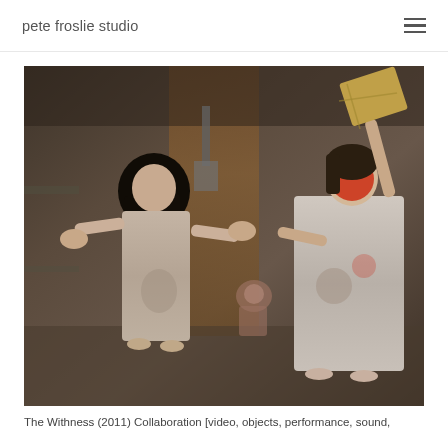pete froslie studio
[Figure (photo): Performance art photograph showing figures in hospital gowns in a dark, decayed industrial space. Left figure has long dark hair and outstretched arms. Right figure has a red-painted face and is raising an object above their head. A third figure is visible in the background.]
The Withness (2011) Collaboration [video, objects, performance, sound,